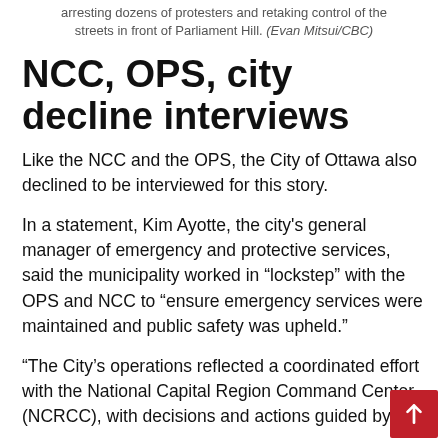arresting dozens of protesters and retaking control of the streets in front of Parliament Hill. (Evan Mitsui/CBC)
NCC, OPS, city decline interviews
Like the NCC and the OPS, the City of Ottawa also declined to be interviewed for this story.
In a statement, Kim Ayotte, the city's general manager of emergency and protective services, said the municipality worked in “lockstep” with the OPS and NCC to “ensure emergency services were maintained and public safety was upheld.”
“The City’s operations reflected a coordinated effort with the National Capital Region Command Centre (NCRCC), with decisions and actions guided by